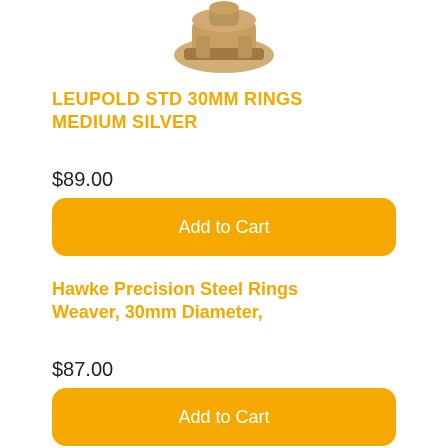[Figure (photo): Partial product photo of a scope ring mount in gold/brass color, cropped at top of page]
LEUPOLD STD 30MM RINGS MEDIUM SILVER
$89.00
Add to Cart
Hawke Precision Steel Rings Weaver, 30mm Diameter,
$87.00
Add to Cart